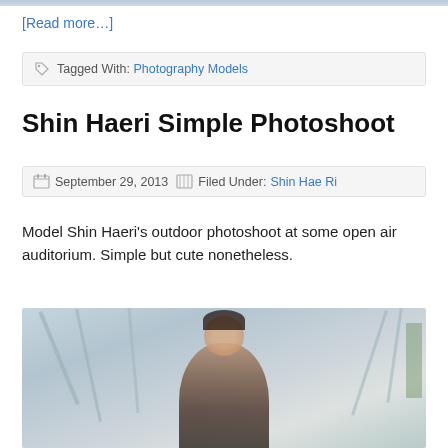[Figure (photo): Top cropped photo strip of an outdoor scene]
[Read more…]
Tagged With: Photography Models
Shin Haeri Simple Photoshoot
September 29, 2013  |  Filed Under: Shin Hae Ri
Model Shin Haeri's outdoor photoshoot at some open air auditorium. Simple but cute nonetheless.
[Figure (photo): Outdoor photoshoot of model Shin Haeri at an open air auditorium, standing under structural beams]